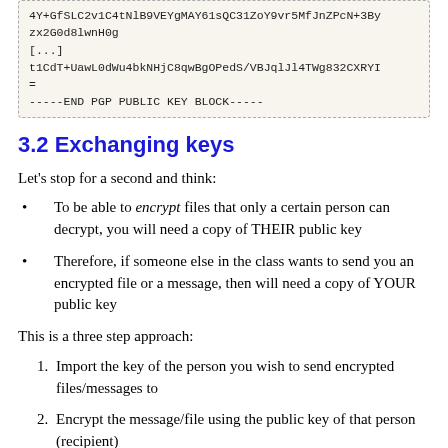4Y+GfSLC2v1C4tNlB9VEYgMAY61sQC31ZoY9vr5MfJnZPcN+3By
zx2G0d8lwnH0g
[...]
t1CdT+UawL0dWu4bkNHjC8qwBgOPedS/VBJqlJl4TWg832CXRYI
=
-----END PGP PUBLIC KEY BLOCK-----
3.2 Exchanging keys
Let's stop for a second and think:
To be able to encrypt files that only a certain person can decrypt, you will need a copy of THEIR public key
Therefore, if someone else in the class wants to send you an encrypted file or a message, then will need a copy of YOUR public key
This is a three step approach:
Import the key of the person you wish to send encrypted files/messages to
Encrypt the message/file using the public key of that person (recipient)